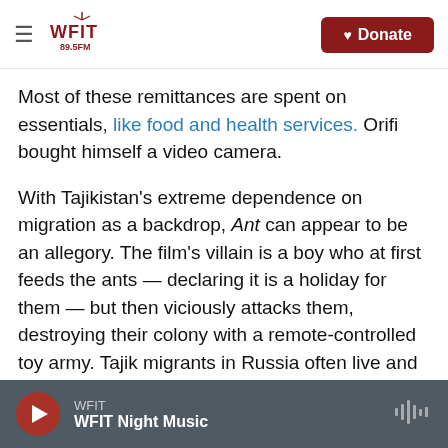WFIT 89.5FM — Donate
Most of these remittances are spent on essentials, like food and health services. Orifi bought himself a video camera.
With Tajikistan's extreme dependence on migration as a backdrop, Ant can appear to be an allegory. The film's villain is a boy who at first feeds the ants — declaring it is a holiday for them — but then viciously attacks them, destroying their colony with a remote-controlled toy army. Tajik migrants in Russia often live and work together in appalling conditions. The film could be seen as a take on the life of a migrant, trying to work in desperate
WFIT — WFIT Night Music